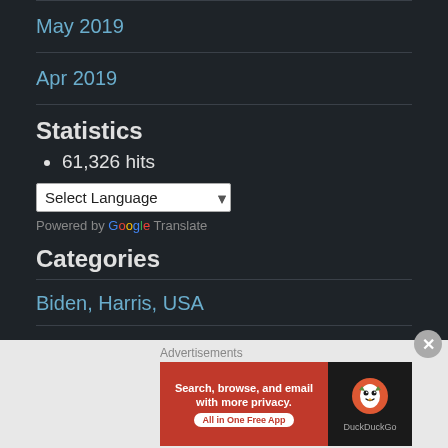May 2019
Apr 2019
Statistics
61,326 hits
[Figure (screenshot): Select Language dropdown widget with Google Translate powered-by text]
Categories
Biden, Harris, USA
[Figure (screenshot): DuckDuckGo advertisement banner: Search, browse, and email with more privacy. All in One Free App. DuckDuckGo logo on dark background.]